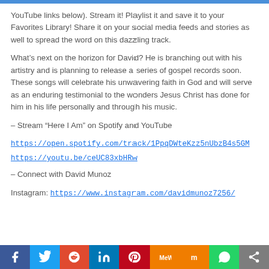YouTube links below). Stream it! Playlist it and save it to your Favorites Library! Share it on your social media feeds and stories as well to spread the word on this dazzling track.
What’s next on the horizon for David? He is branching out with his artistry and is planning to release a series of gospel records soon. These songs will celebrate his unwavering faith in God and will serve as an enduring testimonial to the wonders Jesus Christ has done for him in his life personally and through his music.
– Stream “Here I Am” on Spotify and YouTube
https://open.spotify.com/track/1PpqDWteKzz5nUbzB4s5GM
https://youtu.be/ceUC83xbHRw
– Connect with David Munoz
Instagram: https://www.instagram.com/davidmunoz7256/